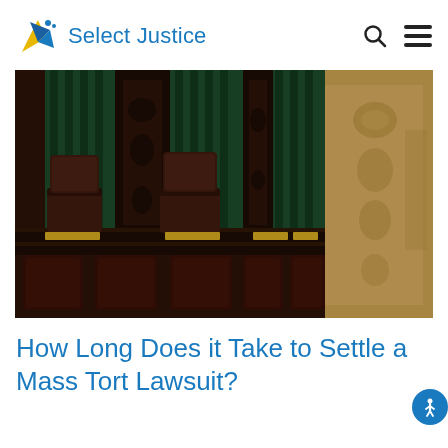Select Justice
[Figure (photo): Interior of an ornate courtroom showing a dark wood judicial bench with carved panels, leather chairs behind the bench, green curtained columns in the background, and gold/beige decorative stonework on the right wall. Small nameplates are visible along the front of the bench.]
How Long Does it Take to Settle a Mass Tort Lawsuit?